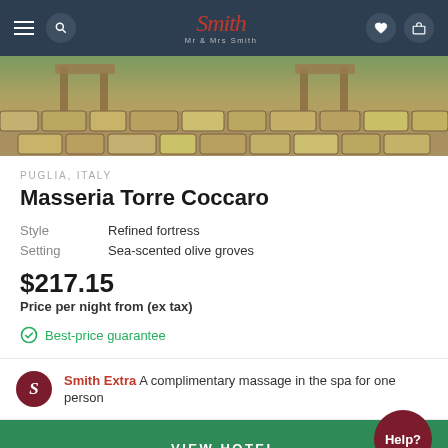Mr & Mrs Smith – navigation bar
[Figure (photo): Outdoor cobblestone terrace with wooden sun loungers at Masseria Torre Coccaro, Puglia, Italy]
PUGLIA, ITALY
Masseria Torre Coccaro
Style: Refined fortress
Setting: Sea-scented olive groves
$217.15
Price per night from (ex tax)
Best-price guarantee
Smith Extra A complimentary massage in the spa for one person
VIEW HOTEL